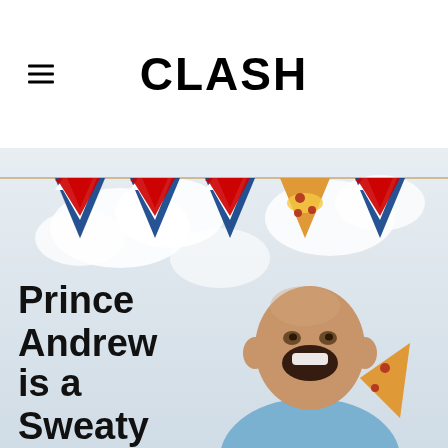CLASH
[Figure (illustration): A humorous illustrated/photo collage showing a man (resembling Prince Andrew) laughing and eating pizza, with Union Jack bunting flags hanging above and a pizza slice bunting flag in the middle. Text overlay reads 'Prince Andrew is a Sweaty'. Light cloudy background.]